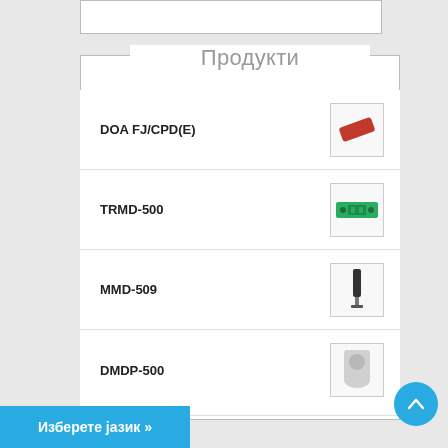Продукти
DOA FJ/CPD(E)
TRMD-500
MMD-509
DMDP-500
Изберете јазик »